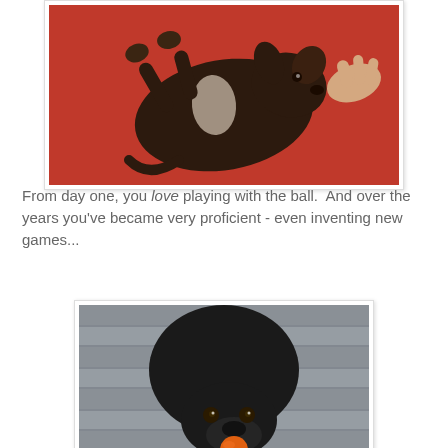[Figure (photo): A dark-colored puppy lying on its back on a red surface, being held/petted by a person's hand. The puppy has a white chest patch and floppy ears.]
From day one, you love playing with the ball.  And over the years you've became very proficient - even inventing new games...
[Figure (photo): A black Labrador dog standing on a wooden deck, looking up at the camera with an orange ball near its mouth.]